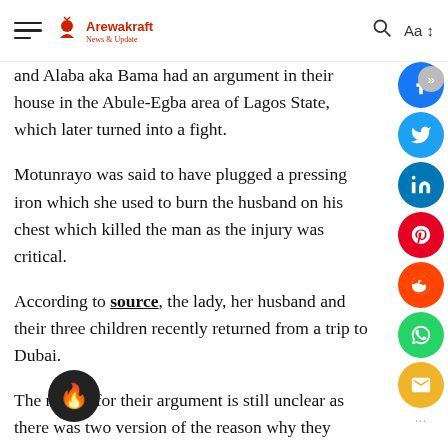Arewakraft
and Alaba aka Bama had an argument in their house in the Abule-Egba area of Lagos State, which later turned into a fight.
Motunrayo was said to have plugged a pressing iron which she used to burn the husband on his chest which killed the man as the injury was critical.
According to source, the lady, her husband and their three children recently returned from a trip to Dubai.
The reason for their argument is still unclear as there was two version of the reason why they fought.
Woman who is identified as Kelly Hassino said that Motunrayo discovered that her husband impregnated another woman another said that Motunrayo during her